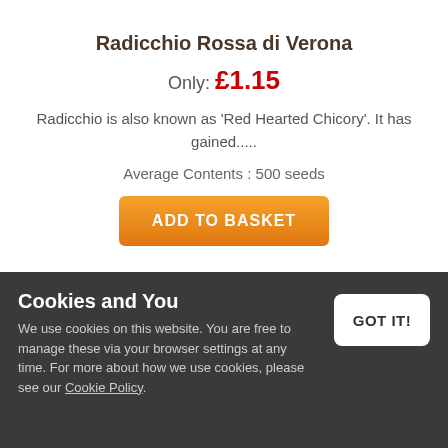Radicchio Rossa di Verona
Only: £1.15
Radicchio is also known as 'Red Hearted Chicory'. It has gained.....
Average Contents : 500 seeds
ADD TO BASKET
Cookies and You
We use cookies on this website. You are free to manage these via your browser settings at any time. For more about how we use cookies, please see our Cookie Policy.
GOT IT!